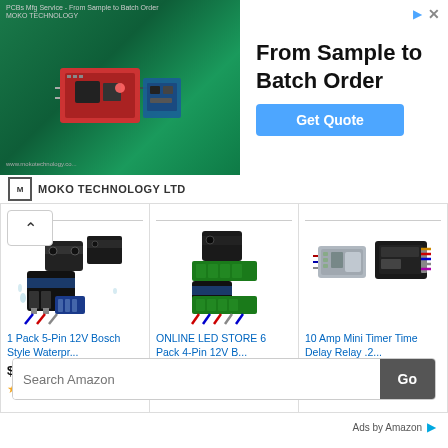[Figure (screenshot): MOKO Technology advertisement banner showing PCB board image with green background, headline 'From Sample to Batch Order', and 'Get Quote' button]
MOKO TECHNOLOGY LTD
[Figure (photo): 1 Pack 5-Pin 12V Bosch Style waterproof relay product image]
1 Pack 5-Pin 12V Bosch Style Waterpr...
$9.50 prime
(781)
[Figure (photo): ONLINE LED STORE 6 Pack 4-Pin 12V relay product image]
ONLINE LED STORE 6 Pack 4-Pin 12V B...
$17.50 prime
(1607)
[Figure (photo): 10 Amp Mini Timer Time Delay Relay product image]
10 Amp Mini Timer Time Delay Relay .2...
$39.99 prime
(203)
Search Amazon
Ads by Amazon